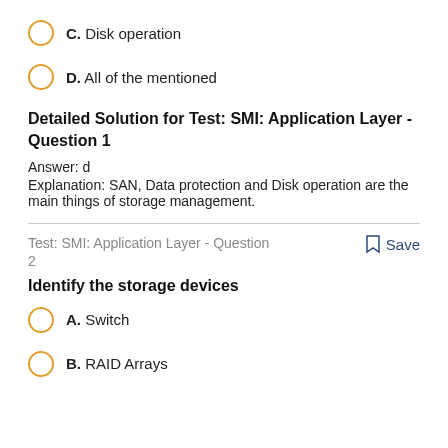C. Disk operation
D. All of the mentioned
Detailed Solution for Test: SMI: Application Layer - Question 1
Answer: d
Explanation: SAN, Data protection and Disk operation are the main things of storage management.
Test: SMI: Application Layer - Question 2
Save
Identify the storage devices
A. Switch
B. RAID Arrays